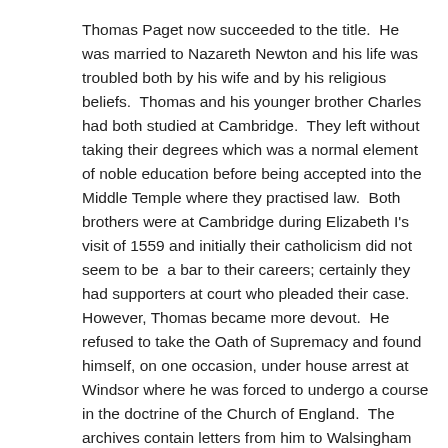Thomas Paget now succeeded to the title.  He was married to Nazareth Newton and his life was troubled both by his wife and by his religious beliefs.  Thomas and his younger brother Charles had both studied at Cambridge.  They left without taking their degrees which was a normal element of noble education before being accepted into the Middle Temple where they practised law.  Both brothers were at Cambridge during Elizabeth I's visit of 1559 and initially their catholicism did not seem to be  a bar to their careers; certainly they had supporters at court who pleaded their case.  However, Thomas became more devout.  He refused to take the Oath of Supremacy and found himself, on one occasion, under house arrest at Windsor where he was forced to undergo a course in the doctrine of the Church of England.  The archives contain letters from him to Walsingham pleading to be allowed not to attend church services in St Paul's.  There are other letters directed to Cecil where he justifies his decision to separate from his wife who eventually turned state evidence against him.  It is perhaps telling that his son, the next Baron Paget, was a Protestant.  So far, so sad – religious belief seems to lie at the heart of Thomas Paget's troubles.  After his wife died he fled to the continent where he eventually gained a pension